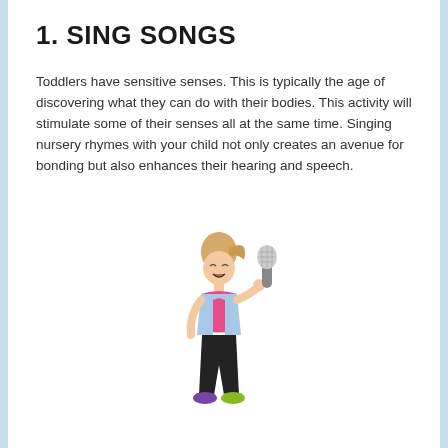1. SING SONGS
Toddlers have sensitive senses. This is typically the age of discovering what they can do with their bodies. This activity will stimulate some of their senses all at the same time. Singing nursery rhymes with your child not only creates an avenue for bonding but also enhances their hearing and speech.
[Figure (photo): A young girl with a ponytail wearing a pink shirt, light blue denim vest, black pants, and colorful sneakers, holding a microphone and singing with her mouth open]